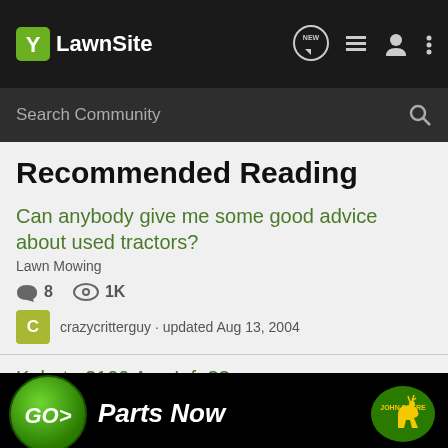LawnSite
Search Community
Recommended Reading
Can anybody give me some good advice about used tractors?
Lawn Mowing
8 comments · 1K views · crazycritterguy · updated Aug 13, 2004
Kubota 2100 Any Info??
Heavy Equipment & Tractors
9 comments
[Figure (screenshot): John Deere Parts Now advertisement banner with green GO> button and John Deere logo]